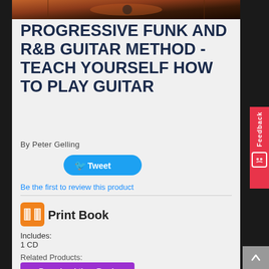[Figure (photo): Guitar photo at top of page, showing dark reddish-brown guitar body]
PROGRESSIVE FUNK AND R&B GUITAR METHOD - TEACH YOURSELF HOW TO PLAY GUITAR
By Peter Gelling
[Figure (other): Twitter Tweet button, blue rounded rectangle with bird icon and Tweet text]
Be the first to review this product
[Figure (other): Print Book icon, orange square with book pages symbol]
Print Book
Includes:
1 CD
Related Products:
[Figure (other): Purple Download the eBook button]